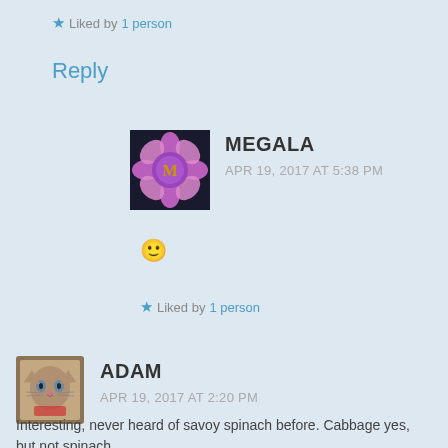★ Liked by 1 person
Reply
MEGALA
APR 19, 2017 AT 5:38 PM
🙂
★ Liked by 1 person
ADAM
APR 19, 2017 AT 2:20 PM
Interesting, never heard of savoy spinach before. Cabbage yes, but not spinach.